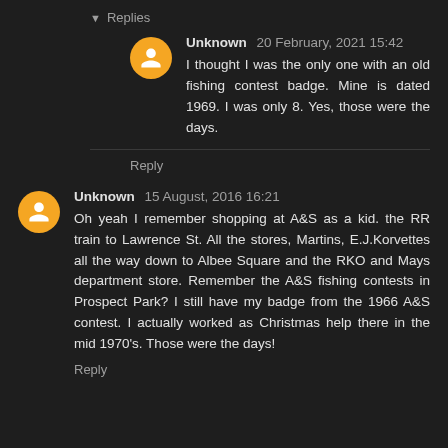▼ Replies
Unknown 20 February, 2021 15:42
I thought I was the only one with an old fishing contest badge. Mine is dated 1969. I was only 8. Yes, those were the days.
Reply
Unknown 15 August, 2016 16:21
Oh yeah I remember shopping at A&S as a kid. the RR train to Lawrence St. All the stores, Martins, E.J.Korvettes all the way down to Albee Square and the RKO and Mays department store. Remember the A&S fishing contests in Prospect Park? I still have my badge from the 1966 A&S contest. I actually worked as Christmas help there in the mid 1970's. Those were the days!
Reply